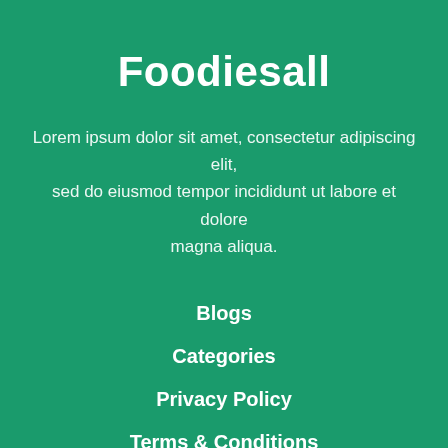Foodiesall
Lorem ipsum dolor sit amet, consectetur adipiscing elit, sed do eiusmod tempor incididunt ut labore et dolore magna aliqua.
Blogs
Categories
Privacy Policy
Terms & Conditions
Accessibility Statement
[Figure (illustration): Social media icons: Facebook, YouTube, Pinterest, Twitter, Instagram]